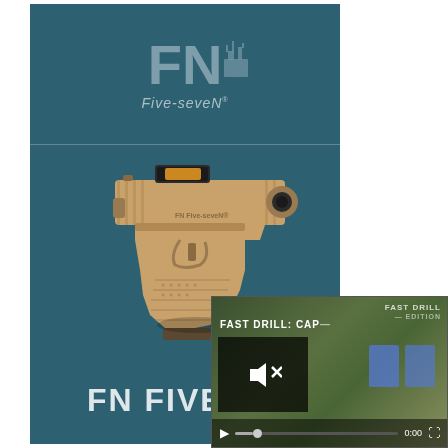[Figure (illustration): FN Five-seveN pistol product advertisement card with teal/dark blue background. Top section shows the FN logo (large letters 'FN' with a small factory/building icon) and the brand name 'Five-seveN' in italic below. Middle section shows a tan/FDE colored FN Five-seveN pistol with a red-dot optic mounted, angled view. Bottom section shows partial text 'FN FIVE-SE' in large bold white letters. Overlaid in the bottom-right is a video player thumbnail showing 'FAST DRILL: CAP—' title text, a shooting range scene with two blue targets, a dark muted-speaker icon box, a close button (X), and standard video controls (play button, progress bar at 0:00, fullscreen icon).]